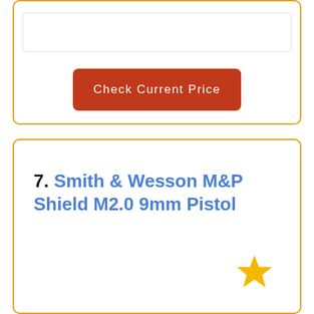[Figure (other): Top card section with a white input/image box and a red 'Check Current Price' button, bordered in orange/gold]
Check Current Price
7. Smith & Wesson M&P Shield M2.0 9mm Pistol
4.5/5
Features: